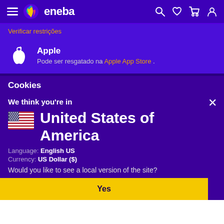[Figure (screenshot): Eneba website navigation bar with hamburger menu, colorful flame/leaf logo, 'eneba' text, and icons for search, wishlist, cart, and user account on dark purple background]
Verificar restrições
Apple
Pode ser resgatado na Apple App Store .
Cookies
We think you're in
United States of America
Language: English US
Currency: US Dollar ($)
Would you like to see a local version of the site?
Yes